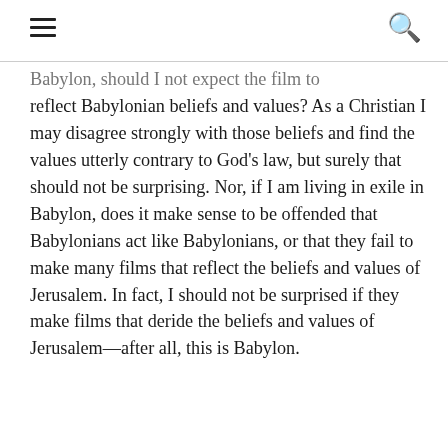≡ [hamburger menu] | [search icon]
Babylon, should I not expect the film to reflect Babylonian beliefs and values? As a Christian I may disagree strongly with those beliefs and find the values utterly contrary to God's law, but surely that should not be surprising. Nor, if I am living in exile in Babylon, does it make sense to be offended that Babylonians act like Babylonians, or that they fail to make many films that reflect the beliefs and values of Jerusalem. In fact, I should not be surprised if they make films that deride the beliefs and values of Jerusalem—after all, this is Babylon.